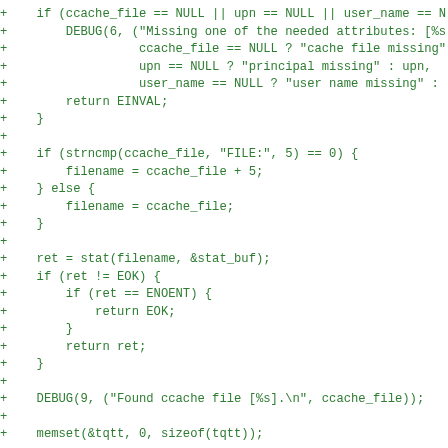Code diff showing C code for ccache file handling logic including NULL checks, strncmp, stat, and DEBUG calls